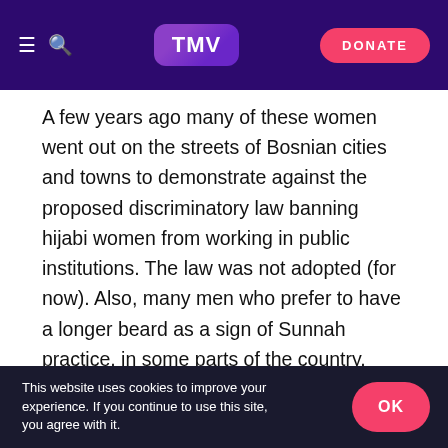TMV | DONATE
A few years ago many of these women went out on the streets of Bosnian cities and towns to demonstrate against the proposed discriminatory law banning hijabi women from working in public institutions. The law was not adopted (for now). Also, many men who prefer to have a longer beard as a sign of Sunnah practice, in some parts of the country, have been subject to a form of blackmail – they are told they must shave their beards if they want to keep the job. They are often labeled as “Wahabi” or “Salafi” because of the beards, although many of them are not.
This website uses cookies to improve your experience. If you continue to use this site, you agree with it. OK